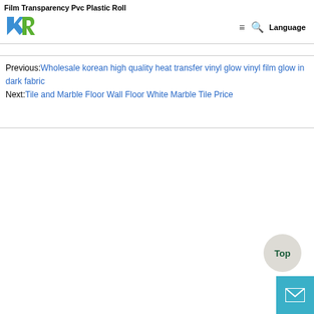Film Transparency Pvc Plastic Roll
[Figure (logo): Company logo with two overlapping arrow shapes in blue and green forming letters K and R]
Previous:Wholesale korean high quality heat transfer vinyl glow vinyl film glow in dark fabric
Next:Tile and Marble Floor Wall Floor White Marble Tile Price